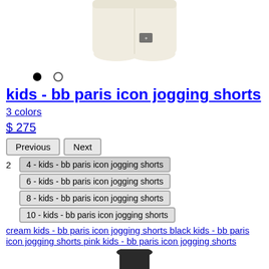[Figure (photo): Cream/beige kids jogging shorts with logo, shown from front, partial view at top of page]
• ○
kids - bb paris icon jogging shorts
3 colors
$ 275
Previous | Next
2  4 - kids - bb paris icon jogging shorts
6 - kids - bb paris icon jogging shorts
8 - kids - bb paris icon jogging shorts
10 - kids - bb paris icon jogging shorts
cream kids - bb paris icon jogging shorts black kids - bb paris icon jogging shorts pink kids - bb paris icon jogging shorts
[Figure (photo): Partial bottom image of another product in dark color]